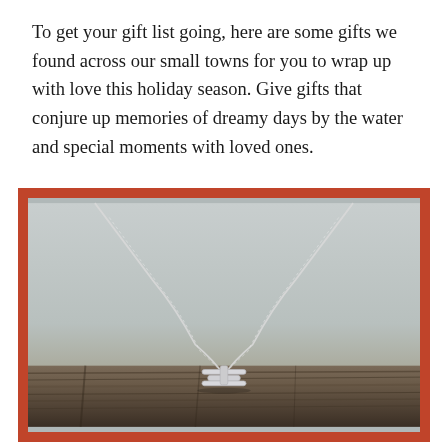To get your gift list going, here are some gifts we found across our small towns for you to wrap up with love this holiday season. Give gifts that conjure up memories of dreamy days by the water and special moments with loved ones.
[Figure (photo): A silver necklace with a small cleat-shaped pendant resting on weathered wood, against a soft grey background. The necklace is displayed with a rust/terracotta colored border frame around the photograph.]